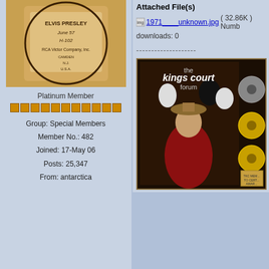[Figure (photo): Elvis Presley RCA Victor record label close-up, showing handwritten text 'Elvis Presley June 57 H-102 RCA Victor Company Inc']
Platinum Member
Group: Special Members
Member No.: 482
Joined: 17-May 06
Posts: 25,347
From: antarctica
Attached File(s)
1971____unknown.jpg ( 32.86K ) Number of downloads: 0
--------------------
[Figure (photo): The Kings Court Forum banner image featuring multiple Elvis Presley images and gold records, with text 'the kings court forum' and a plaque reading 'TKC MEM... TO CERT... COLON... HAS A... PLATIN... AWAR...']
[Figure (screenshot): Up arrow navigation button]
+ QUOTE
Memphis-Man
Oct 30 2021, 03:27 AM
Post #33
Love the 1971 pictures. So many are new to